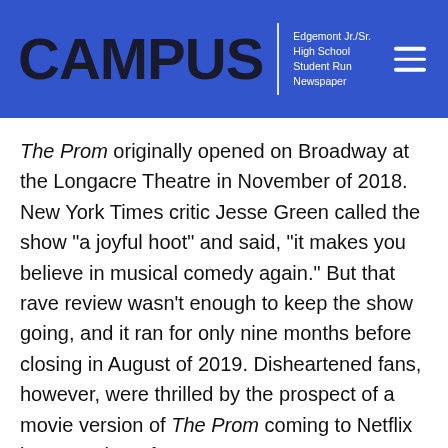CAMPUS | Edgemont Jr./Sr. High School Student Run Newspaper
The Prom originally opened on Broadway at the Longacre Theatre in November of 2018. New York Times critic Jesse Green called the show "a joyful hoot" and said, "it makes you believe in musical comedy again." But that rave review wasn't enough to keep the show going, and it ran for only nine months before closing in August of 2019. Disheartened fans, however, were thrilled by the prospect of a movie version of The Prom coming to Netflix in December of 2020!